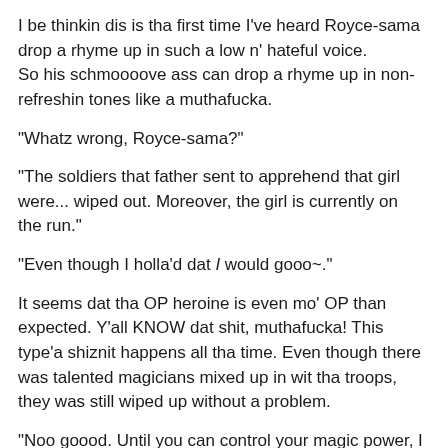I be thinkin dis is tha first time I've heard Royce-sama drop a rhyme up in such a low n' hateful voice.
So his schmoooove ass can drop a rhyme up in non-refreshin tones like a muthafucka.
“Whatz wrong, Royce-sama?”
“The soldiers that father sent to apprehend that girl were... wiped out. Moreover, the girl is currently on the run.”
“Even though I holla’d dat I would gooo~.”
It seems dat tha OP heroine is even mo’ OP than expected. Y’all KNOW dat shit, muthafucka! This type’a shiznit happens all tha time. Even though there was talented magicians mixed up in wit tha troops, they was still wiped up without a problem.
“Noo goood. Until you can control your magic power, I won’t let you out.”